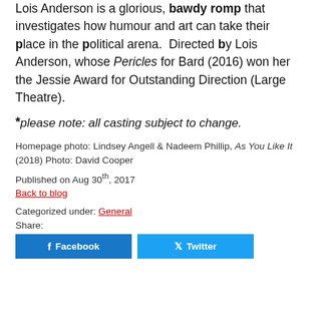Lois Anderson is a glorious, bawdy romp that investigates how humour and art can take their place in the political arena.  Directed by Lois Anderson, whose Pericles for Bard (2016) won her the Jessie Award for Outstanding Direction (Large Theatre).
*please note: all casting subject to change.
Homepage photo: Lindsey Angell & Nadeem Phillip, As You Like It (2018) Photo: David Cooper
Published on Aug 30th, 2017
Back to blog
Categorized under: General
Share: